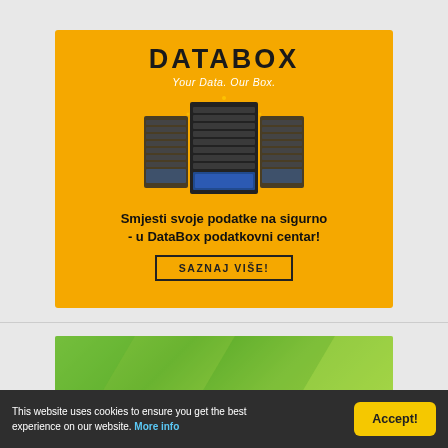[Figure (advertisement): DataBox data center advertisement on orange/amber background. Shows DATABOX logo in bold black letters, tagline 'Your Data. Our Box.' in white italic, illustration of multiple server racks in center, bold text 'Smjesti svoje podatke na sigurno - u DataBox podatkovni centar!' and a bordered button 'SAZNAJ VIŠE!']
[Figure (illustration): Green gradient banner, partially visible at bottom of page]
This website uses cookies to ensure you get the best experience on our website. More info
Accept!